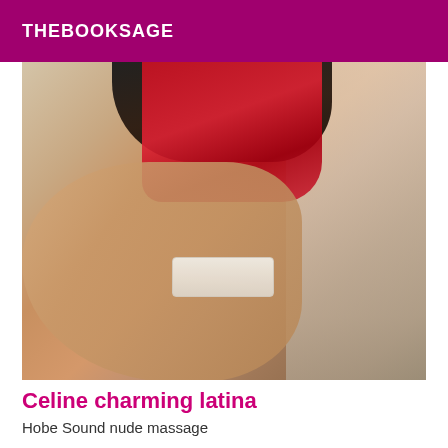THEBOOKSAGE
[Figure (photo): A person posing in a red outfit with dark hair, white lace band visible, indoor setting with curtains and radiator in background]
Celine charming latina
Hobe Sound nude massage